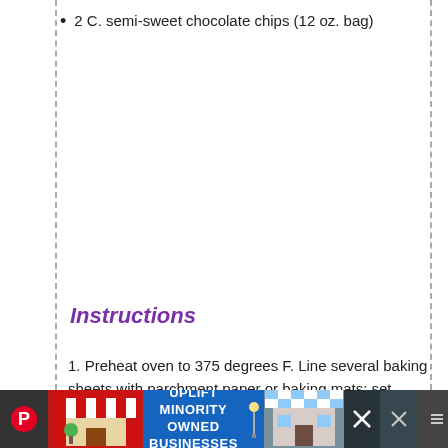2 C. semi-sweet chocolate chips (12 oz. bag)
Instructions
1. Preheat oven to 375 degrees F. Line several baking sheets with parchment paper or baking mats; set aside.
2. In a medium bowl, add flour, baking soda, salt and
[Figure (screenshot): Advertisement banner: UPLIFT MINORITY OWNED BUSINESSES with store illustrations and close button]